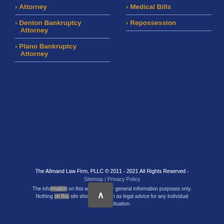Attorney
Denton Bankruptcy Attorney
Plano Bankruptcy Attorney
Medical Bills
Repossession
Make A Payment
The Allmand Law Firm, PLLC © 2011 - 2021 All Rights Reserved -
Sitemap | Privacy Policy
The information on this website is for general information purposes only. Nothing on this site should be taken as legal advice for any individual case or situation.